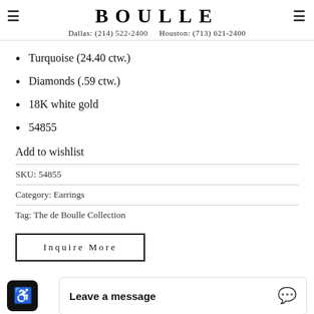BOULLE
Dallas: (214) 522-2400    Houston: (713) 621-2400
Turquoise (24.40 ctw.)
Diamonds (.59 ctw.)
18K white gold
54855
Add to wishlist
SKU: 54855
Category: Earrings
Tag: The de Boulle Collection
Inquire More